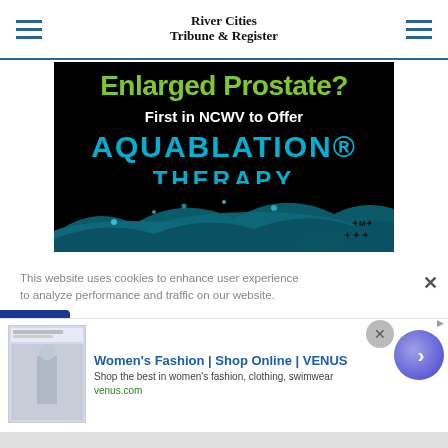River Cities Tribune & Register
[Figure (photo): Advertisement for Aquablation Therapy for enlarged prostate. Black background with green text reading 'Enlarged Prostate?', white text 'First in NCWV to Offer', cyan text 'AQUABLATION THERAPY', water splash imagery at bottom, and a snowflake logo mark.]
This website uses cookies to enhance user experience to analyze performance and traffic on our website.
[Figure (screenshot): Infolinks advertisement bar showing Women's Fashion | Shop Online | VENUS. Shop the best in women's fashion, clothing, swimwear. venus.com]